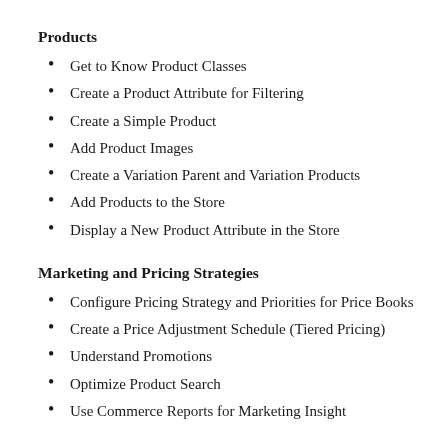Products
Get to Know Product Classes
Create a Product Attribute for Filtering
Create a Simple Product
Add Product Images
Create a Variation Parent and Variation Products
Add Products to the Store
Display a New Product Attribute in the Store
Marketing and Pricing Strategies
Configure Pricing Strategy and Priorities for Price Books
Create a Price Adjustment Schedule (Tiered Pricing)
Understand Promotions
Optimize Product Search
Use Commerce Reports for Marketing Insight
Internationalization and Localization